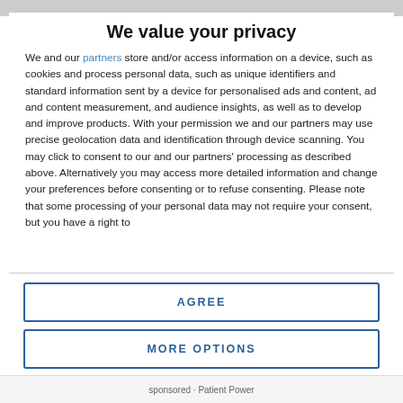We value your privacy
We and our partners store and/or access information on a device, such as cookies and process personal data, such as unique identifiers and standard information sent by a device for personalised ads and content, ad and content measurement, and audience insights, as well as to develop and improve products. With your permission we and our partners may use precise geolocation data and identification through device scanning. You may click to consent to our and our partners' processing as described above. Alternatively you may access more detailed information and change your preferences before consenting or to refuse consenting. Please note that some processing of your personal data may not require your consent, but you have a right to
AGREE
MORE OPTIONS
sponsored · Patient Power